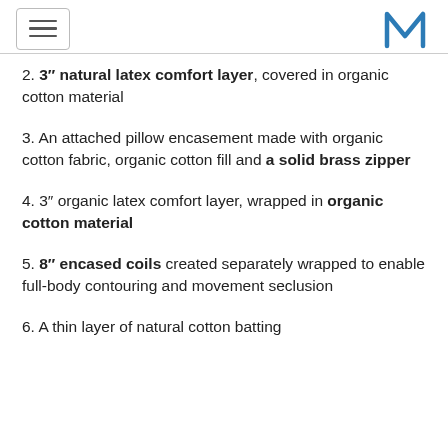Navigation menu and logo M
2. 3″ natural latex comfort layer, covered in organic cotton material
3. An attached pillow encasement made with organic cotton fabric, organic cotton fill and a solid brass zipper
4. 3″ organic latex comfort layer, wrapped in organic cotton material
5. 8″ encased coils created separately wrapped to enable full-body contouring and movement seclusion
6. A thin layer of natural cotton batting